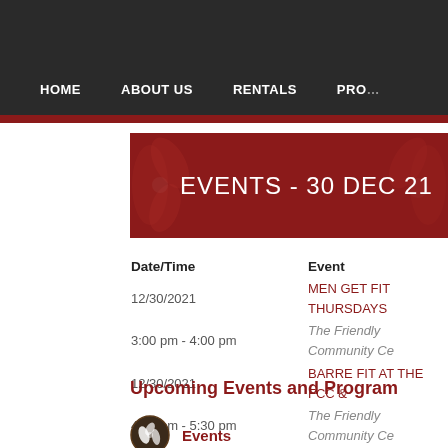HOME   ABOUT US   RENTALS   PROG…
EVENTS - 30 DEC 21
| Date/Time | Event |
| --- | --- |
| 12/30/2021 | MEN GET FIT THURSDAYS |
| 3:00 pm - 4:00 pm | The Friendly Community Ce… |
| 12/30/2021 | BARRE FIT AT THE FCC &… |
| 4:30 pm - 5:30 pm | The Friendly Community Ce… |
Upcoming Events and Program…
Events